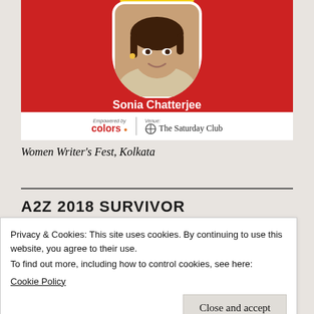[Figure (photo): Event banner for Women Writer's Fest Kolkata showing Sonia Chatterjee's photo in a white rounded frame on red background, with Colors and The Saturday Club logos at the bottom]
Women Writer's Fest, Kolkata
A2Z 2018 SURVIVOR
Privacy & Cookies: This site uses cookies. By continuing to use this website, you agree to their use.
To find out more, including how to control cookies, see here:
Cookie Policy
Close and accept